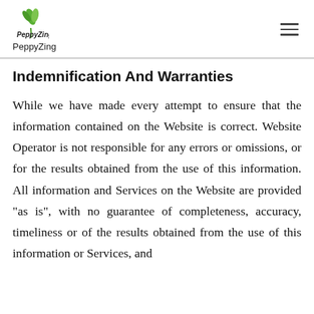PeppyZing
Indemnification And Warranties
While we have made every attempt to ensure that the information contained on the Website is correct. Website Operator is not responsible for any errors or omissions, or for the results obtained from the use of this information. All information and Services on the Website are provided “as is”, with no guarantee of completeness, accuracy, timeliness or of the results obtained from the use of this information or Services, and